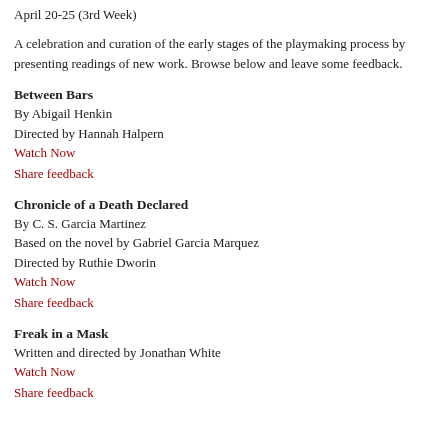April 20-25 (3rd Week)
A celebration and curation of the early stages of the playmaking process by presenting readings of new work. Browse below and leave some feedback.
Between Bars
By Abigail Henkin
Directed by Hannah Halpern
Watch Now
Share feedback
Chronicle of a Death Declared
By C. S. Garcia Martinez
Based on the novel by Gabriel Garcia Marquez
Directed by Ruthie Dworin
Watch Now
Share feedback
Freak in a Mask
Written and directed by Jonathan White
Watch Now
Share feedback